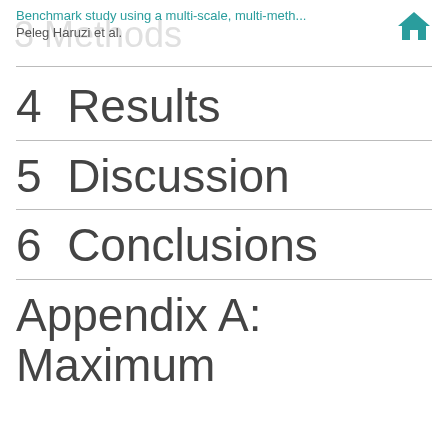Benchmark study using a multi-scale, multi-meth... Peleg Haruzi et al.
3 Methods
4  Results
5  Discussion
6  Conclusions
Appendix A:  Maximum